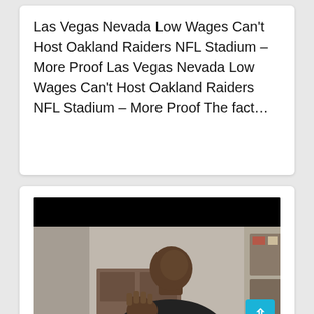Las Vegas Nevada Low Wages Can't Host Oakland Raiders NFL Stadium – More Proof Las Vegas Nevada Low Wages Can't Host Oakland Raiders NFL Stadium – More Proof The fact…
[Figure (photo): Video thumbnail showing a bald Black man in a dark shirt gesturing with his fist raised, seated in a room with furniture and shelves in the background. The video player has a black bar at the top and teal/cyan scroll-to-top button in the bottom right corner.]